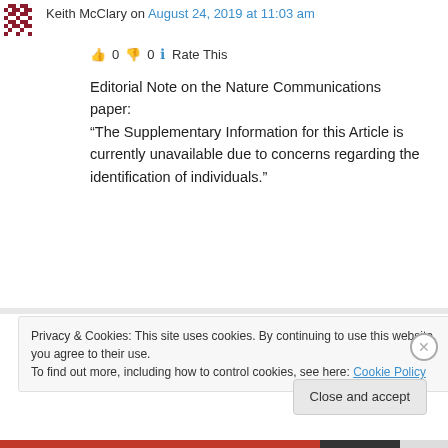[Figure (other): Pixelated avatar icon (dark red/maroon grid pattern)]
Keith McClary on August 24, 2019 at 11:03 am
👍 0 👎 0 ℹ Rate This
Editorial Note on the Nature Communications paper:
“The Supplementary Information for this Article is currently unavailable due to concerns regarding the identification of individuals.”
Log in to Reply
Privacy & Cookies: This site uses cookies. By continuing to use this website, you agree to their use.
To find out more, including how to control cookies, see here: Cookie Policy